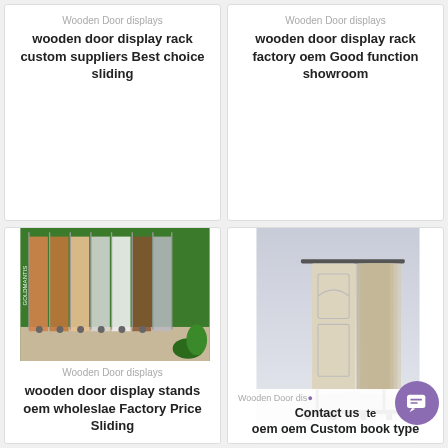Wooden Door displays
wooden door display rack custom suppliers Best choice sliding
Wooden Door displays
wooden door display rack factory oem Good function showroom
[Figure (photo): Photo of wooden door display racks in a showroom with green walls, multiple door panels on rolling stands, GOLDMANTIS branding visible]
Wooden Door displays
wooden door display stands oem wholeslae Factory Price Sliding
[Figure (photo): 3D render of a wooden door display book-type rack holding multiple cream/beige paneled doors fanned out on a metal frame]
Wooden Door dis...
Contact us ...te oem oem Custom book type